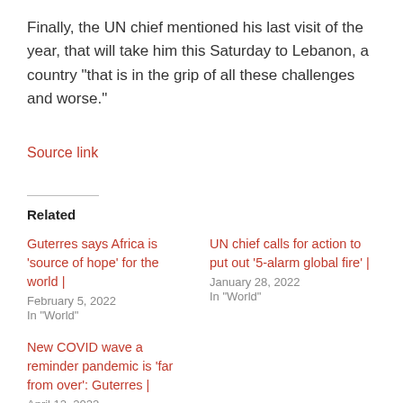Finally, the UN chief mentioned his last visit of the year, that will take him this Saturday to Lebanon, a country “that is in the grip of all these challenges and worse.”
Source link
Related
Guterres says Africa is ‘source of hope’ for the world |
February 5, 2022
In “World”
UN chief calls for action to put out ‘5-alarm global fire’ |
January 28, 2022
In “World”
New COVID wave a reminder pandemic is ‘far from over’: Guterres |
April 12, 2022